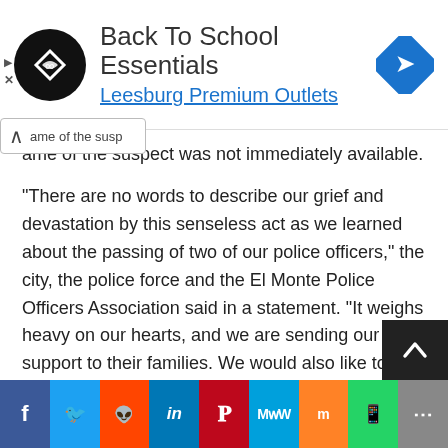[Figure (screenshot): Advertisement banner for 'Back To School Essentials' at Leesburg Premium Outlets, with circular black logo icon on left and blue diamond navigation icon on right]
ame of the suspect was not immediately available.
“There are no words to describe our grief and devastation by this senseless act as we learned about the passing of two of our police officers,” the city, the police force and the El Monte Police Officers Association said in a statement. “It weighs heavy on our hearts, and we are sending our support to their families. We would also like to thank the El Monte community and our surrounding government agencies for the outpouring (of) support we have received in the last few hours.”
The Los Angeles County Sheriff’s Department is leading the investigation, the city said. Detectives are interviewing the
[Figure (other): Social share bar with buttons: Facebook, Twitter, Reddit, LinkedIn, Pinterest, MeWe, Mix, WhatsApp, More]